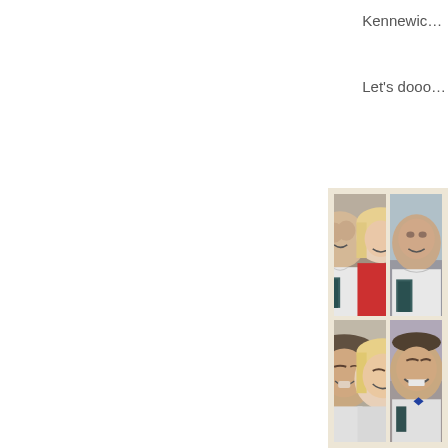Kennewic…
Let's dooo…
[Figure (photo): A photo collage/photo strip showing a couple (man with short dark hair in white t-shirt, woman with blonde hair in red top) in four photos: top-left shows both smiling together, top-right shows the man alone smiling, bottom-left shows them nuzzling/laughing together, bottom-right shows the man laughing. The collage is on a cream/beige background.]